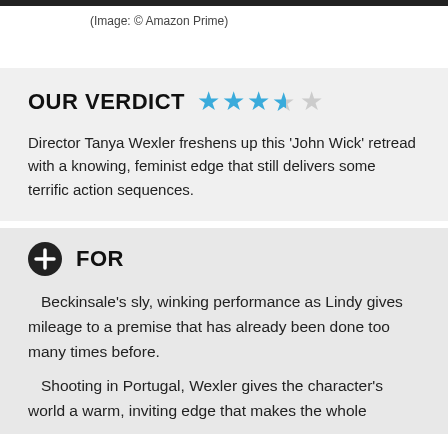(Image: © Amazon Prime)
OUR VERDICT  ★★★½☆
Director Tanya Wexler freshens up this 'John Wick' retread with a knowing, feminist edge that still delivers some terrific action sequences.
⊕  FOR
Beckinsale's sly, winking performance as Lindy gives mileage to a premise that has already been done too many times before.
Shooting in Portugal, Wexler gives the character's world a warm, inviting edge that makes the whole